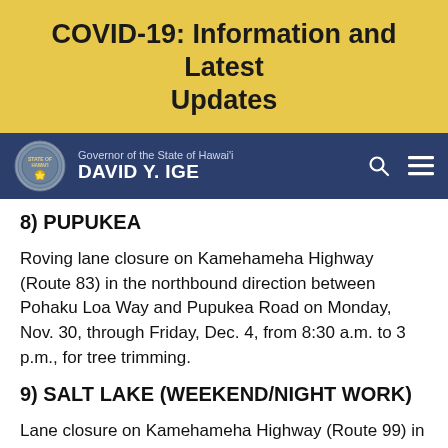COVID-19: Information and Latest Updates
Governor of the State of Hawai'i DAVID Y. IGE
8) PUPUKEA
Roving lane closure on Kamehameha Highway (Route 83) in the northbound direction between Pohaku Loa Way and Pupukea Road on Monday, Nov. 30, through Friday, Dec. 4, from 8:30 a.m. to 3 p.m., for tree trimming.
9) SALT LAKE (WEEKEND/NIGHT WORK)
Lane closure on Kamehameha Highway (Route 99) in both directions between Center Drive and Nimitz Highway on Sunday, Nov. 29, through Friday, Dec. 4,